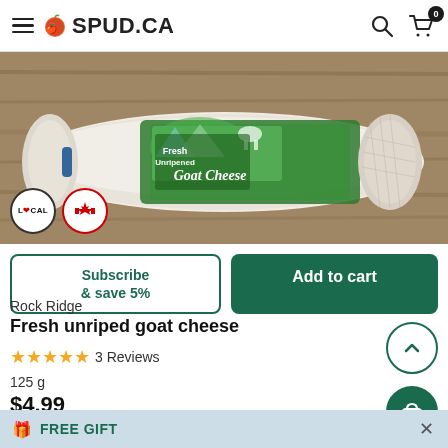SPUD.CA
[Figure (photo): A log of Fresh Unripened Goat Cheese from Rock Ridge on a wooden surface, with LOCAL and Canada badges in the lower left.]
Subscribe & save 5%
Add to cart
Rock Ridge
Fresh unriped goat cheese
3 Reviews
125 g
$4.99
FREE GIFT